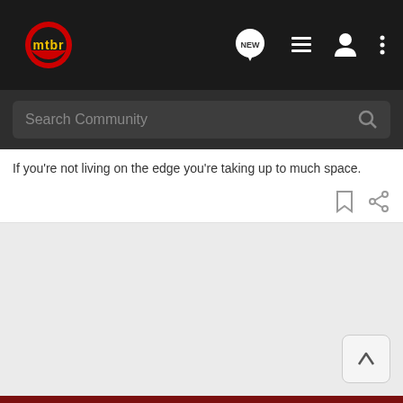mtbr
Search Community
If you're not living on the edge you're taking up to much space.
[Figure (screenshot): Bass Pro Shops Hunting Bargain Cave Clearance ad banner with SHOP NOW button]